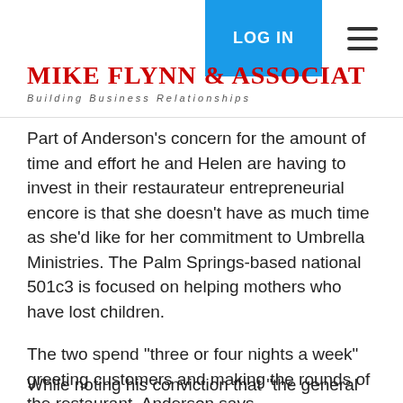MIKE FLYNN & ASSOCIATES — Building Business Relationships
Part of Anderson's concern for the amount of time and effort he and Helen are having to invest in their restaurateur entrepreneurial encore is that she doesn't have as much time as she'd like for her commitment to Umbrella Ministries. The Palm Springs-based national 501c3 is focused on helping mothers who have lost children.
The two spend "three or four nights a week" greeting customers and making the rounds of the restaurant, Anderson says.
"I've seen tough times before and some of my restaurants didn't make it," says Anderson, noting the failures included the Tacoma restaurant that opened following Seattle.
While noting his conviction that "the general...